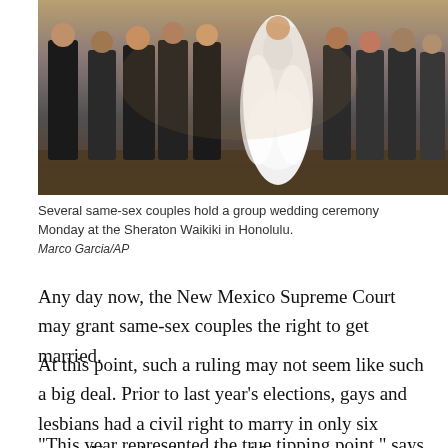[Figure (photo): Several same-sex couples hold a group wedding ceremony at the Sheraton Waikiki in Honolulu. Wedding party group photo with bride in white feathered dress.]
Several same-sex couples hold a group wedding ceremony Monday at the Sheraton Waikiki in Honolulu.
Marco Garcia/AP
Any day now, the New Mexico Supreme Court may grant same-sex couples the right to get married.
At this point, such a ruling may not seem like such a big deal. Prior to last year's elections, gays and lesbians had a civil right to marry in only six states. Now, they have it in 16.
"This year represented the true tipping point," says Eric